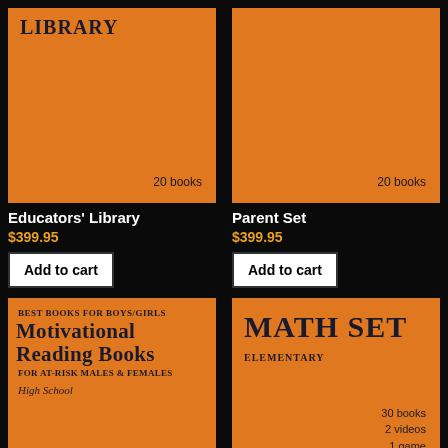[Figure (illustration): Orange book cover with title 'Library' and '20 books' text]
Educators' Library
$399.95
Add to cart
[Figure (illustration): Orange book cover with '20 books' text]
Parent Set
$399.95
Add to cart
[Figure (illustration): Orange book cover: Best Books For Boys/Girls - Motivational Reading Books For At-Risk Males & Females - High School]
[Figure (illustration): Orange book cover: Math Set - Elementary - 30 books, 2 videos, 1 game]